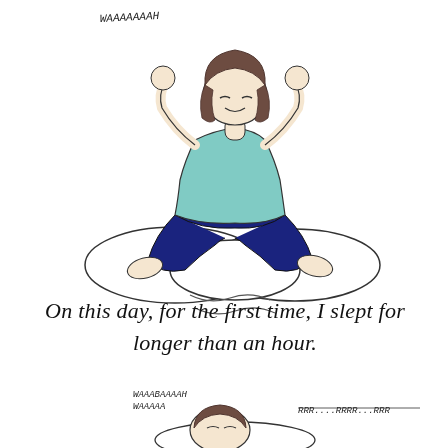[Figure (illustration): A cartoon illustration of a woman sitting cross-legged on pillows/bedding with her hands raised to her head in frustration. She has brown hair and wears a teal/mint top and dark navy pants. Above her left is handwritten text 'WAAAAABAH' in a shaky font. Below the figure are motion lines suggesting bouncing or movement.]
On this day, for the first time, I slept for longer than an hour.
[Figure (illustration): Bottom portion showing a person lying down sleeping on a pillow (brown hair visible). To the upper left is handwritten text 'WAAABAAAAH' and 'WAAAAA'. To the right is handwritten 'RRR....RRRR...RRR' suggesting snoring sounds.]